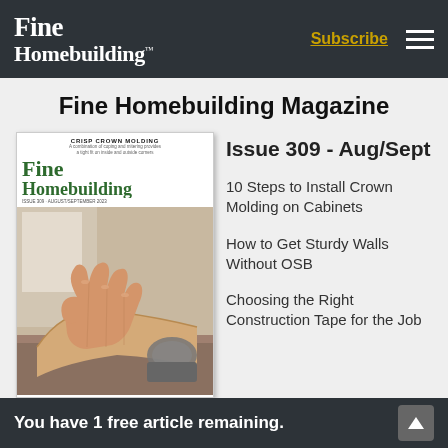Fine Homebuilding — Subscribe — Navigation
Fine Homebuilding Magazine
[Figure (illustration): Cover of Fine Homebuilding magazine Issue 309 Aug/Sept showing a person's hand working with wood on a miter saw or similar tool, with the magazine logo in green text and headline CRISP CROWN MOLDING at the top]
Issue 309 - Aug/Sept
10 Steps to Install Crown Molding on Cabinets
How to Get Sturdy Walls Without OSB
Choosing the Right Construction Tape for the Job
You have 1 free article remaining.